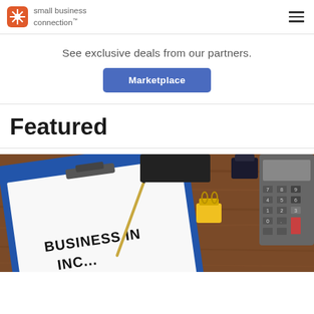small business connection
See exclusive deals from our partners.
Marketplace
Featured
[Figure (photo): Business insurance document on clipboard with pen, binder clips, and calculator on wooden desk. Text visible: 'BUSINESS IN... IN...']